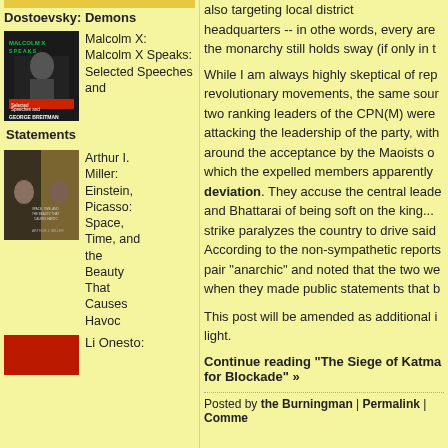Dostoevsky: Demons
[Figure (photo): Book cover: Malcolm X Speaks, edited by George Breitman, showing Malcolm X with raised fingers]
Malcolm X: Malcolm X Speaks: Selected Speeches and
Statements
[Figure (photo): Book cover: Einstein, Picasso: Space, Time, and the Beauty That Causes Havoc by Arthur I. Miller]
Arthur I. Miller: Einstein, Picasso: Space, Time, and the Beauty That Causes Havoc
[Figure (photo): Book cover partially visible at bottom]
Li Onesto:
also targeting local district headquarters -- in othe words, every are the monarchy still holds sway (if only in t
While I am always highly skeptical of rep revolutionary movements, the same sour two ranking leaders of the CPN(M) were attacking the leadership of the party, with around the acceptance by the Maoists o which the expelled members apparently deviation. They accuse the central leade and Bhattarai of being soft on the king... strike paralyzes the country to drive said According to the non-sympathetic reports pair "anarchic" and noted that the two we when they made public statements that b
This post will be amended as additional i light.
Continue reading "The Siege of Katma for Blockade" »
Posted by the Burningman | Permalink | Comme